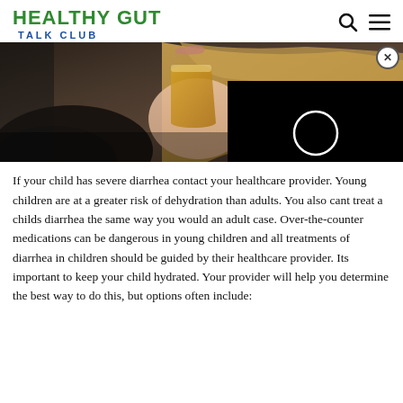HEALTHY GUT TALK CLUB
[Figure (photo): Close-up photo of a woman with long blonde hair holding a glass of beer, partially cropped showing only her mouth, hand, and hair]
[Figure (other): Black video player overlay with a white circular loading/play indicator in the center]
If your child has severe diarrhea contact your healthcare provider. Young children are at a greater risk of dehydration than adults. You also cant treat a childs diarrhea the same way you would an adult case. Over-the-counter medications can be dangerous in young children and all treatments of diarrhea in children should be guided by their healthcare provider. Its important to keep your child hydrated. Your provider will help you determine the best way to do this, but options often include: